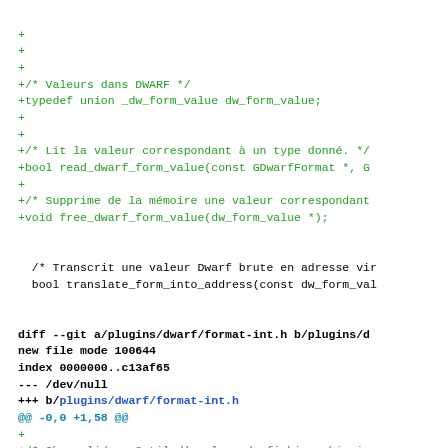Code diff showing additions to DWARF format header files including typedef, function declarations, and new file format-int.h